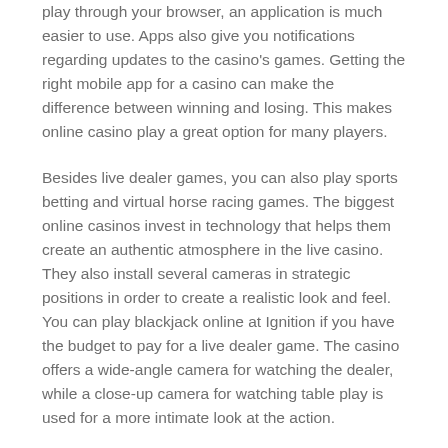play through your browser, an application is much easier to use. Apps also give you notifications regarding updates to the casino's games. Getting the right mobile app for a casino can make the difference between winning and losing. This makes online casino play a great option for many players.
Besides live dealer games, you can also play sports betting and virtual horse racing games. The biggest online casinos invest in technology that helps them create an authentic atmosphere in the live casino. They also install several cameras in strategic positions in order to create a realistic look and feel. You can play blackjack online at Ignition if you have the budget to pay for a live dealer game. The casino offers a wide-angle camera for watching the dealer, while a close-up camera for watching table play is used for a more intimate look at the action.